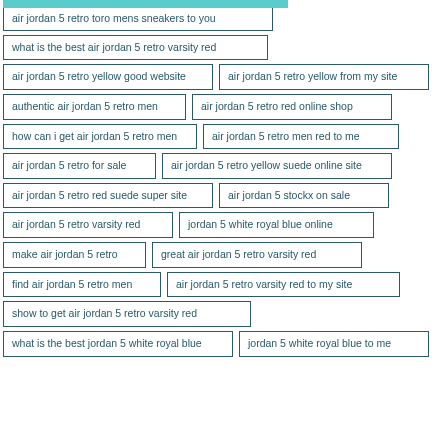air jordan 5 retro toro mens sneakers to you
what is the best air jordan 5 retro varsity red
air jordan 5 retro yellow good website
air jordan 5 retro yellow from my site
authentic air jordan 5 retro men
air jordan 5 retro red online shop
how can i get air jordan 5 retro men
air jordan 5 retro men red to me
air jordan 5 retro for sale
air jordan 5 retro yellow suede online site
air jordan 5 retro red suede super site
air jordan 5 stockx on sale
air jordan 5 retro varsity red
jordan 5 white royal blue online
make air jordan 5 retro
great air jordan 5 retro varsity red
find air jordan 5 retro men
air jordan 5 retro varsity red to my site
show to get air jordan 5 retro varsity red
what is the best jordan 5 white royal blue
jordan 5 white royal blue to me